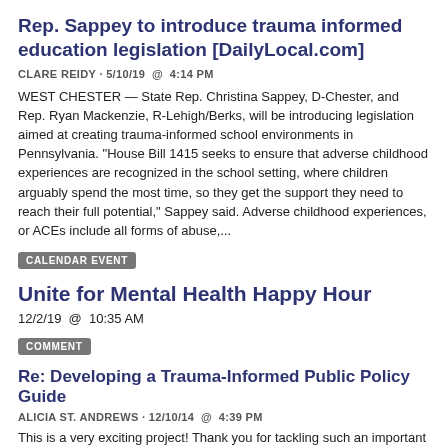Rep. Sappey to introduce trauma informed education legislation [DailyLocal.com]
CLARE REIDY · 5/10/19  @  4:14 PM
WEST CHESTER — State Rep. Christina Sappey, D-Chester, and Rep. Ryan Mackenzie, R-Lehigh/Berks, will be introducing legislation aimed at creating trauma-informed school environments in Pennsylvania. "House Bill 1415 seeks to ensure that adverse childhood experiences are recognized in the school setting, where children arguably spend the most time, so they get the support they need to reach their full potential," Sappey said. Adverse childhood experiences, or ACEs include all forms of abuse,...
CALENDAR EVENT
Unite for Mental Health Happy Hour
12/2/19  @  10:35 AM
COMMENT
Re: Developing a Trauma-Informed Public Policy Guide
ALICIA ST. ANDREWS · 12/10/14  @  4:39 PM
This is a very exciting project! Thank you for tackling such an important